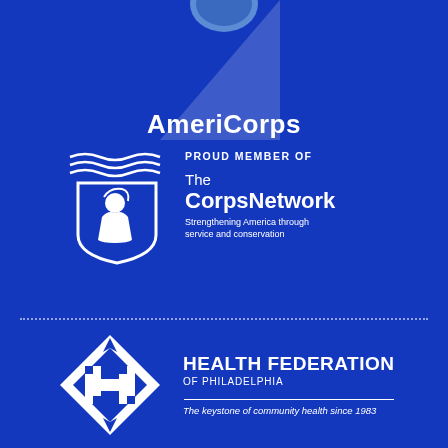[Figure (logo): AmeriCorps logo with circular emblem and bold white text on blue background]
[Figure (logo): The Corps Network logo — shield with figure, 'PROUD MEMBER OF The CorpsNetwork, Strengthening America through service and conservation']
[Figure (logo): Health Federation of Philadelphia logo — diamond shape with H, bold white text 'HEALTH FEDERATION OF PHILADELPHIA, The keystone of community health since 1983']